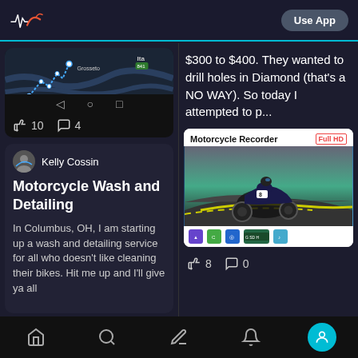MR App header with Use App button
[Figure (screenshot): Map showing a route near Grosseto, Italy on dark background. Navigation icons at bottom.]
10  4
Kelly Cossin
Motorcycle Wash and Detailing
In Columbus, OH, I am starting up a wash and detailing service for all who doesn't like cleaning their bikes. Hit me up and I'll give ya all
$300 to $400. They wanted to drill holes in Diamond (that's a NO WAY). So today I attempted to p...
[Figure (photo): Motorcycle Recorder product box showing a motorcycle rider on track, Full HD label, with app icons at bottom.]
8  0
Navigation bar with home, search, edit, notification, and profile icons